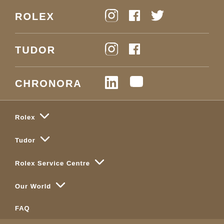ROLEX — Instagram, Facebook, Twitter
TUDOR — Instagram, Facebook
CHRONORA — LinkedIn, YouTube
Rolex
Tudor
Rolex Service Centre
Our World
FAQ